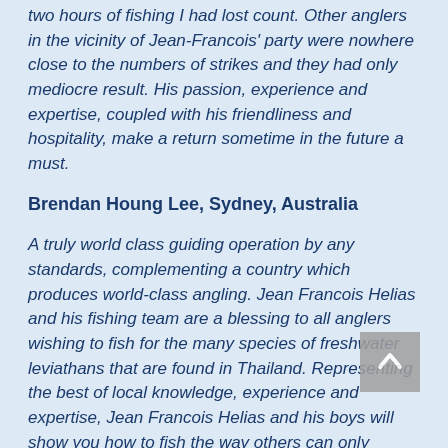two hours of fishing I had lost count. Other anglers in the vicinity of Jean-Francois' party were nowhere close to the numbers of strikes and they had only mediocre result. His passion, experience and expertise, coupled with his friendliness and hospitality, make a return sometime in the future a must.
Brendan Houng Lee, Sydney, Australia
A truly world class guiding operation by any standards, complementing a country which produces world-class angling. Jean Francois Helias and his fishing team are a blessing to all anglers wishing to fish for the many species of freshwater leviathans that are found in Thailand. Representing the best of local knowledge, experience and expertise, Jean Francois Helias and his boys will show you how to fish the way others can only dream about.
Khoo Wee Lee, Singapore
It doesn't matter whether you're a first timer